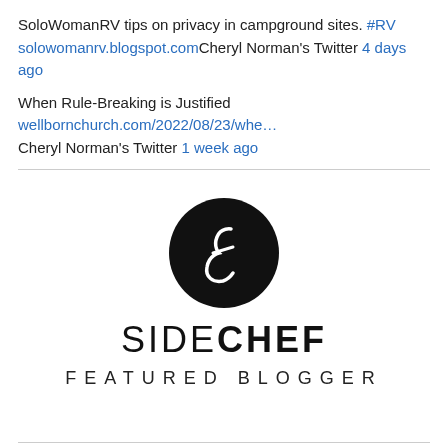SoloWomanRV tips on privacy in campground sites. #RV solowomanrv.blogspot.com Cheryl Norman's Twitter 4 days ago
When Rule-Breaking is Justified wellbornchurch.com/2022/08/23/whe… Cheryl Norman's Twitter 1 week ago
[Figure (logo): SideChef Featured Blogger logo: black circle with stylized 'f' letter, 'SIDECHEF' wordmark below, 'FEATURED BLOGGER' text beneath]